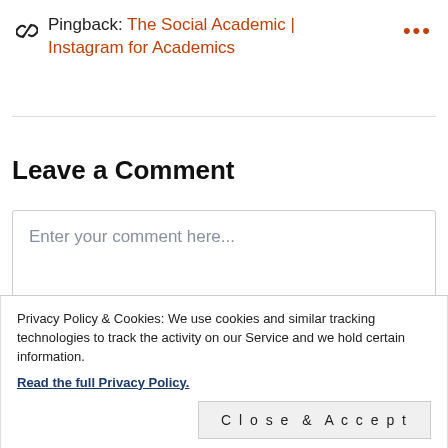Pingback: The Social Academic | Instagram for Academics
Leave a Comment
Enter your comment here...
Privacy Policy & Cookies: We use cookies and similar tracking technologies to track the activity on our Service and we hold certain information.
Read the full Privacy Policy.
Close & Accept
Enter your comment or reply to others